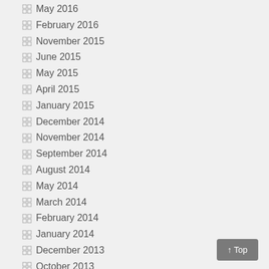May 2016
February 2016
November 2015
June 2015
May 2015
April 2015
January 2015
December 2014
November 2014
September 2014
August 2014
May 2014
March 2014
February 2014
January 2014
December 2013
October 2013
September 2013
August 2013
July 2013
June 2013
April 2013
March 2013
↑ Top